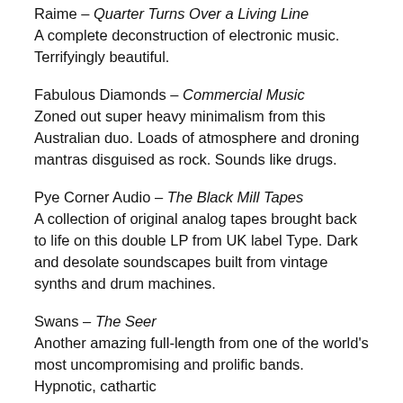Raime – Quarter Turns Over a Living Line
A complete deconstruction of electronic music. Terrifyingly beautiful.
Fabulous Diamonds – Commercial Music
Zoned out super heavy minimalism from this Australian duo. Loads of atmosphere and droning mantras disguised as rock. Sounds like drugs.
Pye Corner Audio – The Black Mill Tapes
A collection of original analog tapes brought back to life on this double LP from UK label Type. Dark and desolate soundscapes built from vintage synths and drum machines.
Swans – The Seer
Another amazing full-length from one of the world's most uncompromising and prolific bands. Hypnotic, cathartic